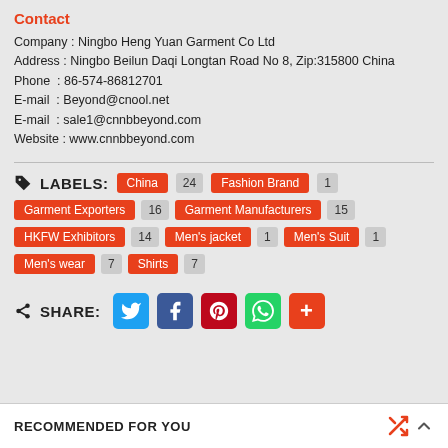Contact
Company : Ningbo Heng Yuan Garment Co Ltd
Address : Ningbo Beilun Daqi Longtan Road No 8, Zip:315800 China
Phone  : 86-574-86812701
E-mail  : Beyond@cnool.net
E-mail  : sale1@cnnbbeyond.com
Website : www.cnnbbeyond.com
LABELS: China 24 Fashion Brand 1 Garment Exporters 16 Garment Manufacturers 15 HKFW Exhibitors 14 Men's jacket 1 Men's Suit 1 Men's wear 7 Shirts 7
SHARE:
RECOMMENDED FOR YOU